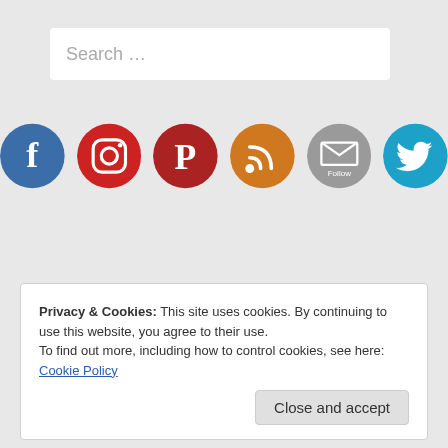[Figure (screenshot): Search bar with placeholder text 'Search …']
[Figure (infographic): Row of six social media icon circles: Facebook (blue), Instagram (red gradient), Pinterest (dark red), RSS (orange), Email Follow (gray), Twitter (light blue)]
Privacy & Cookies: This site uses cookies. By continuing to use this website, you agree to their use.
To find out more, including how to control cookies, see here: Cookie Policy
Close and accept